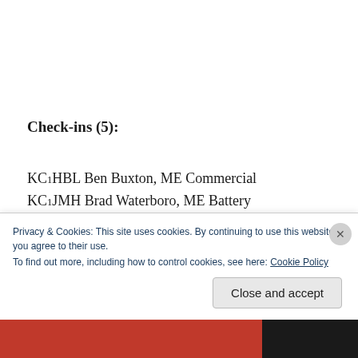Check-ins (5):
KC1HBL Ben Buxton, ME Commercial
KC1JMH Brad Waterboro, ME Battery
KC1CPA Tom Chelsea, ME Commercial
KB1HNZ Tim Windham, ME Battery
Privacy & Cookies: This site uses cookies. By continuing to use this website, you agree to their use.
To find out more, including how to control cookies, see here: Cookie Policy